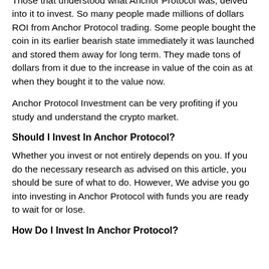Those that understood what Anchor Protocol was, delved into it to invest. So many people made millions of dollars ROI from Anchor Protocol trading. Some people bought the coin in its earlier bearish state immediately it was launched and stored them away for long term. They made tons of dollars from it due to the increase in value of the coin as at when they bought it to the value now.
Anchor Protocol Investment can be very profiting if you study and understand the crypto market.
Should I Invest In Anchor Protocol?
Whether you invest or not entirely depends on you. If you do the necessary research as advised on this article, you should be sure of what to do. However, We advise you go into investing in Anchor Protocol with funds you are ready to wait for or lose.
How Do I Invest In Anchor Protocol?